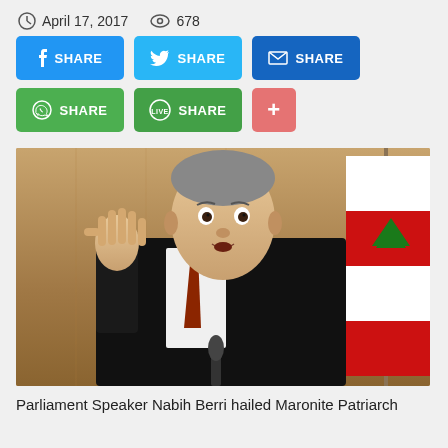April 17, 2017   678
SHARE (Facebook)
SHARE (Twitter)
SHARE (Email)
SHARE (WhatsApp)
SHARE (Line)
+
[Figure (photo): Parliament Speaker Nabih Berri gesturing with raised hand at a press conference, wearing a dark suit and red tie, with a Lebanese flag visible in the background.]
Parliament Speaker Nabih Berri hailed Maronite Patriarch